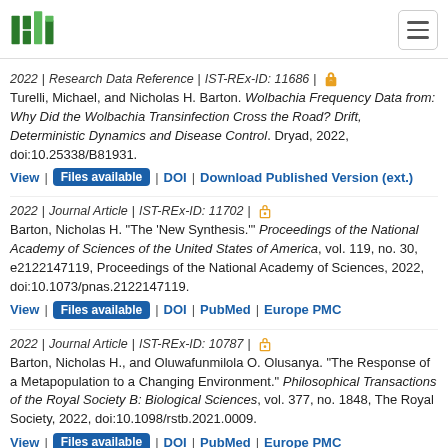ISTA logo and navigation
2022 | Research Data Reference | IST-REx-ID: 11686 | [open access]
Turelli, Michael, and Nicholas H. Barton. Wolbachia Frequency Data from: Why Did the Wolbachia Transinfection Cross the Road? Drift, Deterministic Dynamics and Disease Control. Dryad, 2022, doi:10.25338/B81931.
View | Files available | DOI | Download Published Version (ext.)
2022 | Journal Article | IST-REx-ID: 11702 | [open access]
Barton, Nicholas H. "The 'New Synthesis.'" Proceedings of the National Academy of Sciences of the United States of America, vol. 119, no. 30, e2122147119, Proceedings of the National Academy of Sciences, 2022, doi:10.1073/pnas.2122147119.
View | Files available | DOI | PubMed | Europe PMC
2022 | Journal Article | IST-REx-ID: 10787 | [open access]
Barton, Nicholas H., and Oluwafunmilola O. Olusanya. "The Response of a Metapopulation to a Changing Environment." Philosophical Transactions of the Royal Society B: Biological Sciences, vol. 377, no. 1848, The Royal Society, 2022, doi:10.1098/rstb.2021.0009.
View | Files available | DOI | PubMed | Europe PMC